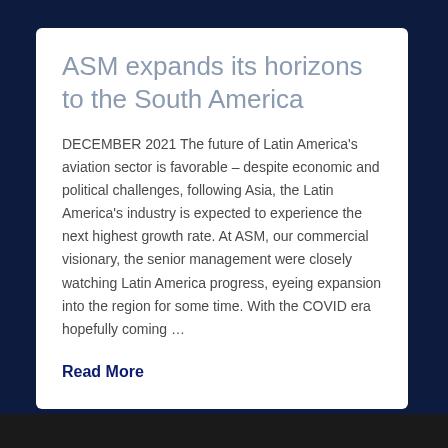ASM expands its horizons to the South America
DECEMBER 2021 The future of Latin America's aviation sector is favorable – despite economic and political challenges, following Asia, the Latin America's industry is expected to experience the next highest growth rate. At ASM, our commercial visionary, the senior management were closely watching Latin America progress, eyeing expansion into the region for some time. With the COVID era hopefully coming …
Read More